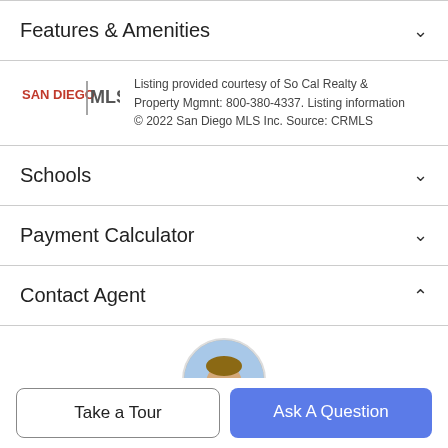Features & Amenities
[Figure (logo): San Diego MLS logo]
Listing provided courtesy of So Cal Realty & Property Mgmnt: 800-380-4337. Listing information © 2022 San Diego MLS Inc. Source: CRMLS
Schools
Payment Calculator
Contact Agent
[Figure (photo): Circular headshot of a smiling man, real estate agent]
Take a Tour
Ask A Question